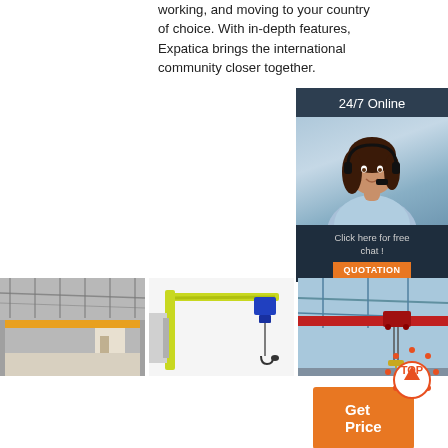working, and moving to your country of choice. With in-depth features, Expatica brings the international community closer together.
Get Price
[Figure (photo): 24/7 Online chat advertisement banner with a woman wearing a headset. Includes 'Click here for free chat!' and 'QUOTATION' button.]
[Figure (photo): Overhead crane inside a warehouse building]
List Of Registered Companies And
[Figure (photo): Yellow and blue jib crane with electric hoist on white background]
Libro - Wikipedia
2021-11-18u2002·u2002Un libro è un insieme di
[Figure (photo): Red overhead crane inside industrial building]
Global Legal Chronicle – Global Legal